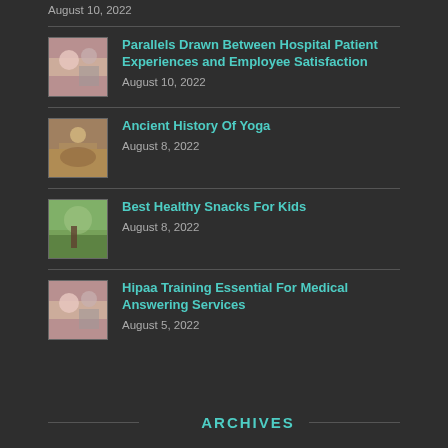August 10, 2022
[Figure (photo): People doing exercises or physical therapy]
Parallels Drawn Between Hospital Patient Experiences and Employee Satisfaction
August 10, 2022
[Figure (photo): Person doing yoga in a room]
Ancient History Of Yoga
August 8, 2022
[Figure (photo): Person on a green field]
Best Healthy Snacks For Kids
August 8, 2022
[Figure (photo): People doing exercises or physical therapy]
Hipaa Training Essential For Medical Answering Services
August 5, 2022
ARCHIVES